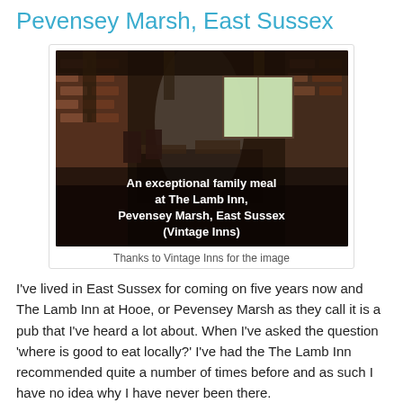Pevensey Marsh, East Sussex
[Figure (photo): Interior of The Lamb Inn showing a rustic pub interior with brick walls, wooden beams, and tables. Overlay text reads: An exceptional family meal at The Lamb Inn, Pevensey Marsh, East Sussex (Vintage Inns)]
Thanks to Vintage Inns for the image
I've lived in East Sussex for coming on five years now and The Lamb Inn at Hooe, or Pevensey Marsh as they call it is a pub that I've heard a lot about. When I've asked the question 'where is good to eat locally?' I've had the The Lamb Inn recommended quite a number of times before and as such I have no idea why I have never been there.
My husband has been there before for a leaving do and he